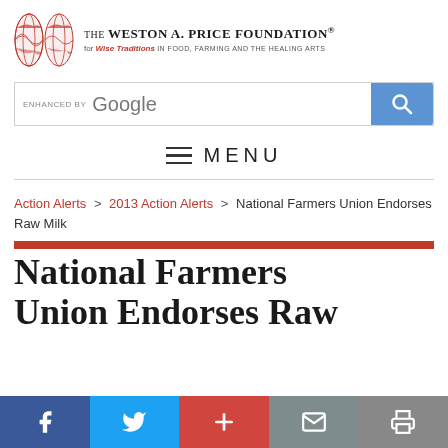The Weston A. Price Foundation® for Wise Traditions in Food, Farming and the Healing Arts
[Figure (screenshot): Google search bar with 'ENHANCED BY Google' label and blue search button]
≡ MENU
Action Alerts > 2013 Action Alerts > National Farmers Union Endorses Raw Milk
National Farmers Union Endorses Raw Milk
Social sharing bar: Facebook, Twitter, Plus, Mail, Print